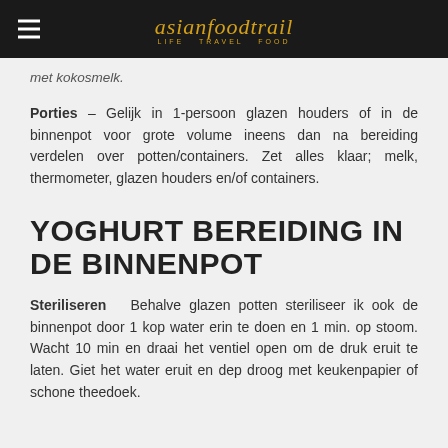asianfoodtrail LIFE TRAVEL FOOD
met kokosmelk.
Porties – Gelijk in 1-persoon glazen houders of in de binnenpot voor grote volume ineens dan na bereiding verdelen over potten/containers. Zet alles klaar: melk, thermometer, glazen houders en/of containers.
YOGHURT BEREIDING IN DE BINNENPOT
Steriliseren   Behalve glazen potten steriliseer ik ook de binnenpot door 1 kop water erin te doen en 1 min. op stoom. Wacht 10 min en draai het ventiel open om de druk eruit te laten. Giet het water eruit en dep droog met keukenpapier of schone theedoek.